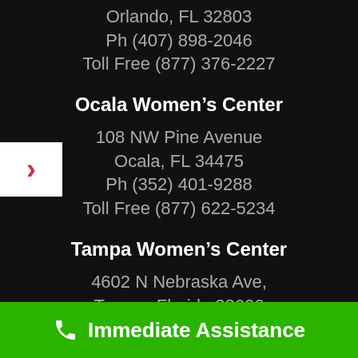Orlando, FL 32803
Ph (407) 898-2046
Toll Free (877) 376-2227
Ocala Women’s Center
108 NW Pine Avenue
Ocala, FL 34475
Ph (352) 401-9288
Toll Free (877) 622-5234
Tampa Women’s Center
4602 N Nebraska Ave,
Tampa, Florida 33606
Ph (813) 258-5995
Immediate Assistance